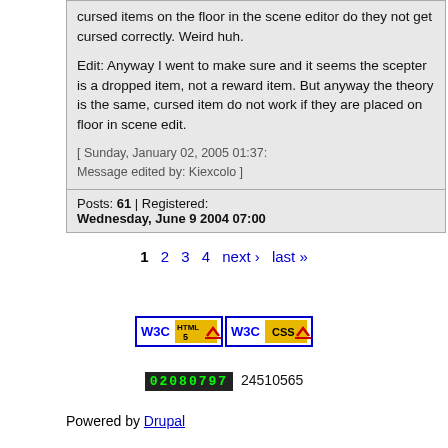cursed items on the floor in the scene editor do they not get cursed correctly. Weird huh.

Edit: Anyway I went to make sure and it seems the scepter is a dropped item, not a reward item. But anyway the theory is the same, cursed item do not work if they are placed on floor in scene edit.

[ Sunday, January 02, 2005 01:37: Message edited by: Kiexcolo ]
Posts: 61 | Registered: Wednesday, June 9 2004 07:00
1 2 3 4 next › last »
[Figure (logo): W3C HTML5 validation badge]
[Figure (logo): W3C CSS validation badge]
02080797 24510565
Powered by Drupal